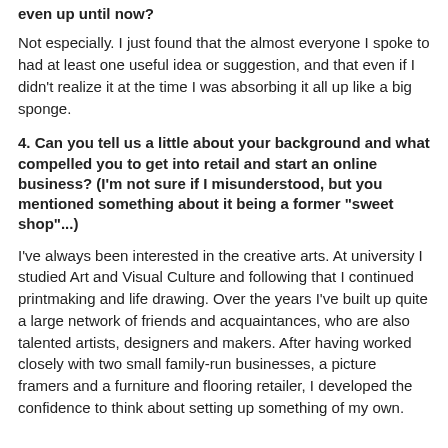even up until now?
Not especially. I just found that the almost everyone I spoke to had at least one useful idea or suggestion, and that even if I didn't realize it at the time I was absorbing it all up like a big sponge.
4. Can you tell us a little about your background and what compelled you to get into retail and start an online business? (I'm not sure if I misunderstood, but you mentioned something about it being a former "sweet shop"...)
I've always been interested in the creative arts. At university I studied Art and Visual Culture and following that I continued printmaking and life drawing. Over the years I've built up quite a large network of friends and acquaintances, who are also talented artists, designers and makers. After having worked closely with two small family-run businesses, a picture framers and a furniture and flooring retailer, I developed the confidence to think about setting up something of my own.